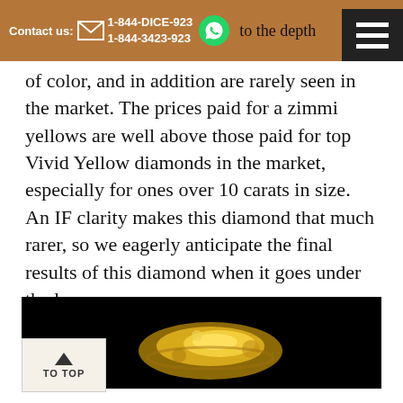Contact us: 1-844-DICE-923 1-844-3423-923 to the depth
of color, and in addition are rarely seen in the market. The prices paid for a zimmi yellows are well above those paid for top Vivid Yellow diamonds in the market, especially for ones over 10 carats in size. An IF clarity makes this diamond that much rarer, so we eagerly anticipate the final results of this diamond when it goes under the hammer.
[Figure (photo): Dark background image showing a yellow diamond or gemstone jewelry piece with yellow and gold coloring]
TO TOP